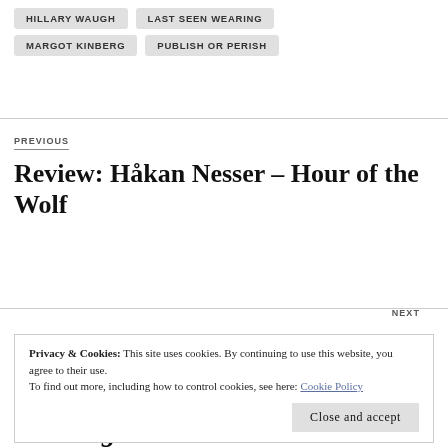HILLARY WAUGH
LAST SEEN WEARING
MARGOT KINBERG
PUBLISH OR PERISH
PREVIOUS
Review: Håkan Nesser – Hour of the Wolf
NEXT
Privacy & Cookies: This site uses cookies. By continuing to use this website, you agree to their use. To find out more, including how to control cookies, see here: Cookie Policy
Close and accept
14 thoughts on